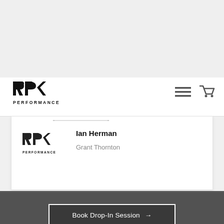[Figure (logo): RP Performance logo in top navigation bar]
[Figure (other): Hamburger menu icon and shopping cart icon in navigation]
[Figure (logo): RP Performance small logo in profile card]
Ian Herman
Grant Thornton
Book Drop-In Session →
Register Your Drop In